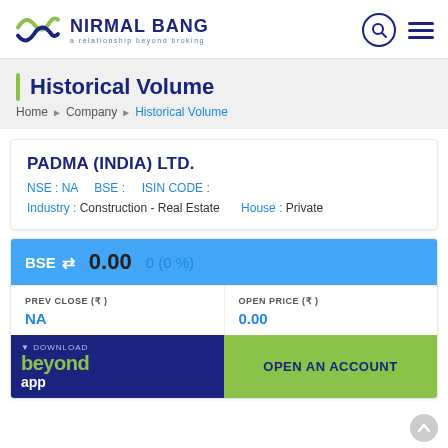[Figure (logo): Nirmal Bang logo with wave icon and tagline 'a relationship beyond broking']
Historical Volume
Home ▸ Company ▸ Historical Volume
PADMA (INDIA) LTD.
NSE : NA   BSE :   ISIN CODE :
Industry : Construction - Real Estate   House : Private
BSE ⇌ 0.00  0 (0 %)
| PREV CLOSE (₹) | OPEN PRICE (₹) |
| --- | --- |
| NA | 0.00 |
[Figure (screenshot): Download beyond app button (dark blue background)]
OPEN AN ACCOUNT